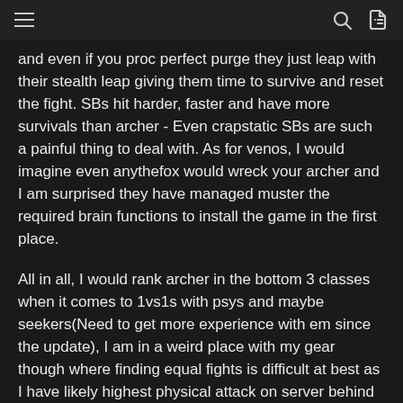hamburger menu, search icon, login icon
and even if you proc perfect purge they just leap with their stealth leap giving them time to survive and reset the fight. SBs hit harder, faster and have more survivals than archer - Even crapstatic SBs are such a painful thing to deal with. As for venos, I would imagine even anythefox would wreck your archer and I am surprised they have managed muster the required brain functions to install the game in the first place.
All in all, I would rank archer in the bottom 3 classes when it comes to 1vs1s with psys and maybe seekers(Need to get more experience with em since the update), I am in a weird place with my gear though where finding equal fights is difficult at best as I have likely highest physical attack on server behind NP archers but I am still missing some +12s and only my cape is sharded with endgame shards atm.